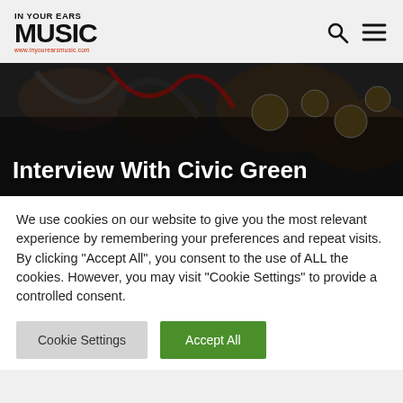IN YOUR EARS MUSIC www.inyourearsmusic.com
[Figure (screenshot): Dark hero banner image showing audio mixing equipment/knobs with overlay text 'Interview With Civic Green']
Interview With Civic Green
We use cookies on our website to give you the most relevant experience by remembering your preferences and repeat visits. By clicking "Accept All", you consent to the use of ALL the cookies. However, you may visit "Cookie Settings" to provide a controlled consent.
Cookie Settings | Accept All